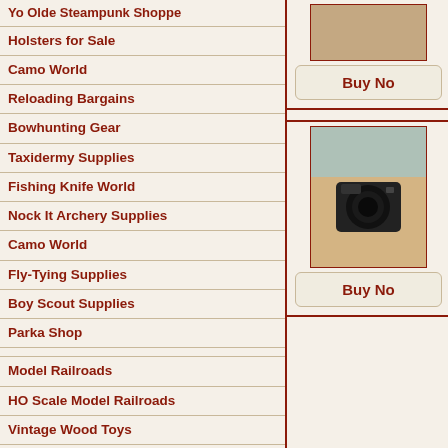Yo Olde Steampunk Shoppe
Holsters for Sale
Camo World
Reloading Bargains
Bowhunting Gear
Taxidermy Supplies
Fishing Knife World
Nock It Archery Supplies
Camo World
Fly-Tying Supplies
Boy Scout Supplies
Parka Shop
Model Railroads
HO Scale Model Railroads
Vintage Wood Toys
Vintage Slot Cars
Vintage Pinball Machines
Jukebox World
Vintage Collectible Toys
Vintage Model Kits
Animation Art
[Figure (photo): Product image top - brownish/tan colored item]
[Figure (photo): Buy Now button top]
[Figure (photo): Product image - black camera or electronic device on sandy background]
[Figure (photo): Buy Now button bottom]